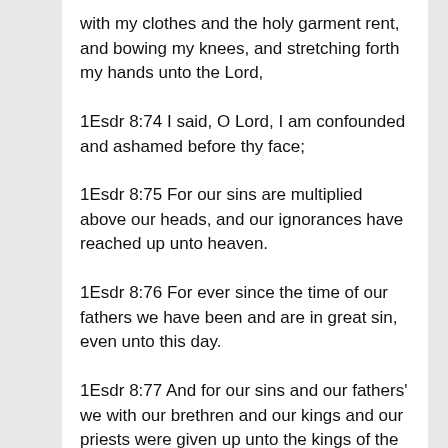with my clothes and the holy garment rent, and bowing my knees, and stretching forth my hands unto the Lord,
1Esdr 8:74 I said, O Lord, I am confounded and ashamed before thy face;
1Esdr 8:75 For our sins are multiplied above our heads, and our ignorances have reached up unto heaven.
1Esdr 8:76 For ever since the time of our fathers we have been and are in great sin, even unto this day.
1Esdr 8:77 And for our sins and our fathers' we with our brethren and our kings and our priests were given up unto the kings of the earth, to the sword, and to captivity, and for a prey